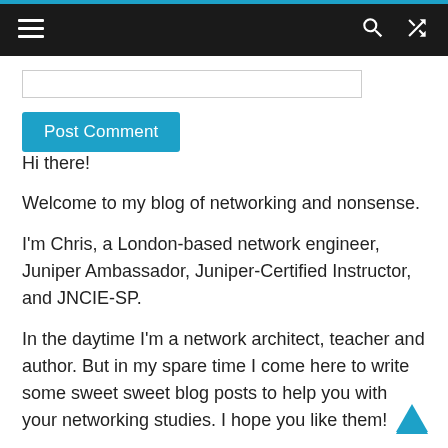≡  🔍  ⇌
[Figure (screenshot): Text input box (form field)]
Post Comment
Hi there!
Welcome to my blog of networking and nonsense.
I'm Chris, a London-based network engineer, Juniper Ambassador, Juniper-Certified Instructor, and JNCIE-SP.
In the daytime I'm a network architect, teacher and author. But in my spare time I come here to write some sweet sweet blog posts to help you with your networking studies. I hope you like them!
In this corner of the information super-highway you'll find tons of stuff about BGP, MPLS, OSPF and IS-IS. If that sounds fun